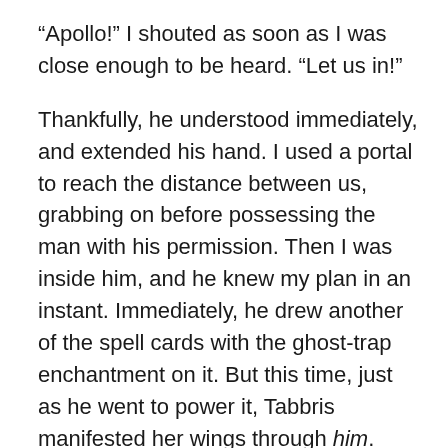“Apollo!” I shouted as soon as I was close enough to be heard. “Let us in!”
Thankfully, he understood immediately, and extended his hand. I used a portal to reach the distance between us, grabbing on before possessing the man with his permission. Then I was inside him, and he knew my plan in an instant. Immediately, he drew another of the spell cards with the ghost-trap enchantment on it. But this time, just as he went to power it, Tabbris manifested her wings through him. They flared to life, extending out behind the man while the power they provided was shoved into the spell.
Most of the Whisper-Ghosts had no idea what hit them. The ghost trap spell filled the entire room. Knowing it was coming, I had already ordered my ghosts to disappear. But